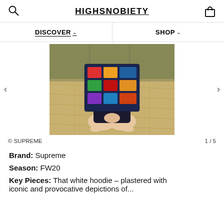HIGHSNOBIETY
DISCOVER   SHOP
[Figure (photo): Person kneeling on tatami floor wearing a colorful patchwork jacket with magazine-style panels, dark shorts, in a Japanese-style room with decorative screen in background]
© SUPREME    1 / 5
Brand: Supreme
Season: FW20
Key Pieces: That white hoodie – plastered with iconic and provocative depictions of...